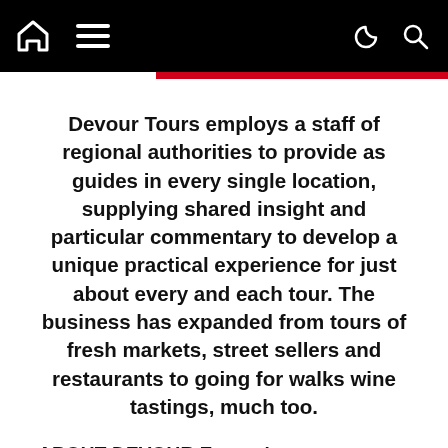Navigation bar with home icon, hamburger menu, moon/dark-mode icon, and search icon
Devour Tours employs a staff of regional authorities to provide as guides in every single location, supplying shared insight and particular commentary to develop a unique practical experience for just about every and each tour. The business has expanded from tours of fresh markets, street sellers and restaurants to going for walks wine tastings, much too.
ABOUT DEVOUR Excursions